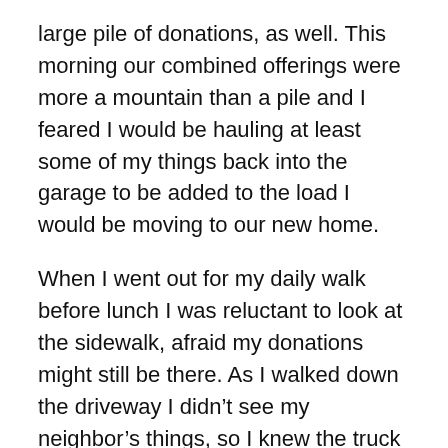large pile of donations, as well. This morning our combined offerings were more a mountain than a pile and I feared I would be hauling at least some of my things back into the garage to be added to the load I would be moving to our new home.
When I went out for my daily walk before lunch I was reluctant to look at the sidewalk, afraid my donations might still be there. As I walked down the driveway I didn't see my neighbor's things, so I knew the truck had already been by. Looking to the spot where my own pile had been, I discovered only bare sidewalk. They had taken it all.
I was elated. I almost skipped on my way with songs of thanksgiving in my heart. Although my worry about the donations may seem fairly insignificant to most folks, it had been a major concern and an object of prayer for